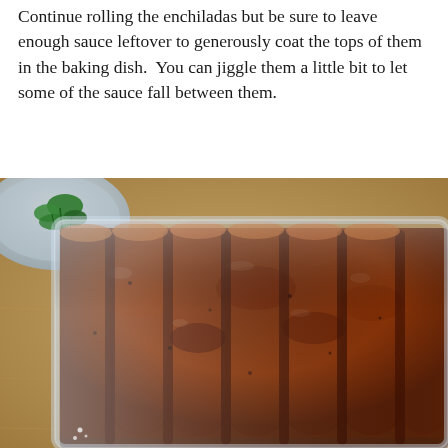Continue rolling the enchiladas but be sure to leave enough sauce leftover to generously coat the tops of them in the baking dish. You can jiggle them a little bit to let some of the sauce fall between them.
[Figure (photo): Overhead view of a glass baking dish filled with rolled enchiladas covered in dark red-brown enchilada sauce, placed on a wooden cutting board. A gray plate with fresh green herbs (cilantro or parsley) is visible in the upper left corner.]